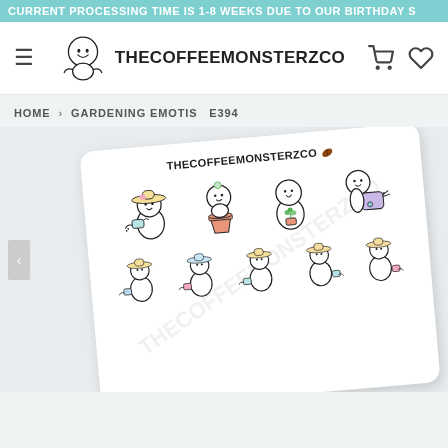CURRENT PROCESSING TIME IS 1-8 WEEKS DUE TO OUR BIRTHDAY S
[Figure (logo): TheCoffeeMonsterzCo website header with hamburger menu, mascot logo (round white character with smiling face), brand name THECOFFEEMONSTERZCO, shopping cart icon, and heart/wishlist icon]
HOME › GARDENING EMOTIS  E394
[Figure (photo): Product photo of a sticker sheet titled THECOFFEEMONSTERZCO with a coffee bean icon. Sheet shows cute round white ghost-like characters (emotis) with gardening themes: characters wearing straw hats holding watering cans, characters hugging flower pots, a character holding a small plant, a character with a large purple watering can. Bottom row shows 5 smaller characters all wearing hats and holding small watering cans. Background has a diagonal THECOFFEEMONSTERZCO watermark pattern.]